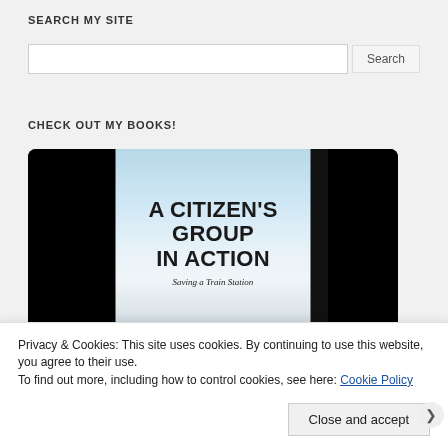SEARCH MY SITE
[Figure (screenshot): Search input box with Search button]
CHECK OUT MY BOOKS!
[Figure (illustration): Book cover image on laptop/tablet display: 'A CITIZEN'S GROUP IN ACTION - Saving a Train Station' with sky/clouds background and black panels on sides]
Privacy & Cookies: This site uses cookies. By continuing to use this website, you agree to their use.
To find out more, including how to control cookies, see here: Cookie Policy
Close and accept